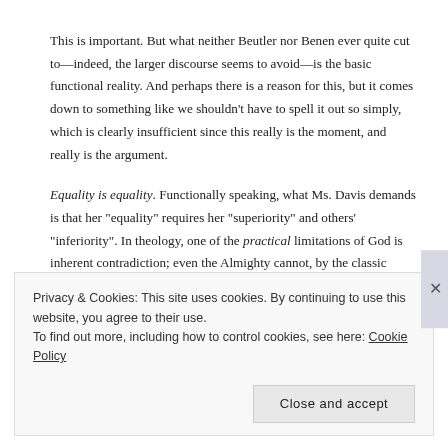This is important. But what neither Beutler nor Benen ever quite cut to—indeed, the larger discourse seems to avoid—is the basic functional reality. And perhaps there is a reason for this, but it comes down to something like we shouldn't have to spell it out so simply, which is clearly insufficient since this really is the moment, and really is the argument.
Equality is equality. Functionally speaking, what Ms. Davis demands is that her "equality" requires her "superiority" and others' "inferiority". In theology, one of the practical limitations of God is inherent contradiction; even the Almighty cannot, by the classic example, fashion a square circle.
By definition, supremacy is not equality.
Privacy & Cookies: This site uses cookies. By continuing to use this website, you agree to their use.
To find out more, including how to control cookies, see here: Cookie Policy